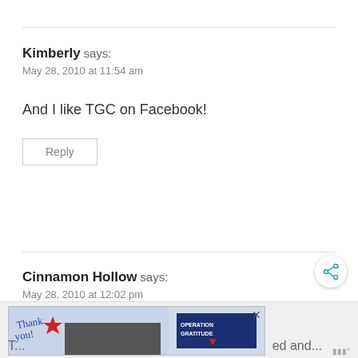Kimberly says: May 28, 2010 at 11:54 am
And I like TGC on Facebook!
Reply
Cinnamon Hollow says: May 28, 2010 at 12:02 pm
[Figure (screenshot): Share button icon]
[Figure (infographic): WHAT'S NEXT box with FREE SVG Cut Files for Cri...]
[Figure (photo): Advertisement banner: Operation Gratitude thank you image with firefighters]
T... ed and...